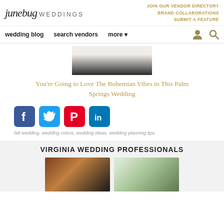junebug WEDDINGS | JOIN OUR VENDOR DIRECTORY | BRAND COLLABORATIONS | SUBMIT A FEATURE
wedding blog  search vendors  more
[Figure (photo): Partial photo of a couple, showing white dress and dark suit from torso down]
You're Going to Love The Bohemian Vibes in This Palm Springs Wedding
[Figure (infographic): Social media share buttons: Facebook, Twitter, Pinterest, LinkedIn]
fall wedding, wedding colors, wedding ideas, wedding planning tips
VIRGINIA WEDDING PROFESSIONALS
[Figure (photo): Wedding photo showing couple dancing in warmly lit venue]
[Figure (photo): Outdoor wedding photo with triangular arch and mountain background]